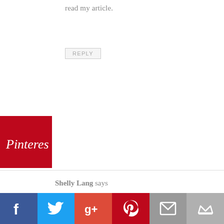read my article.
REPLY
[Figure (logo): Pinterest logo badge - red square with white Pinterest script text]
Shelly Lang says
May 26, 2017 at 2:39 pm
Dear Patti ~ This was another GREAT article!! I'm sharing it with my ladies! Were going through Battlefield of the Mind and this goes with it so good! You are such an inspiration! I love and miss you!!
REPLY
[Figure (infographic): Social sharing bar with 6 buttons: Facebook (blue), Twitter (light blue), Google+ (red-orange), Pinterest (dark red), Email (gray), Crown/bookmark (light gray)]